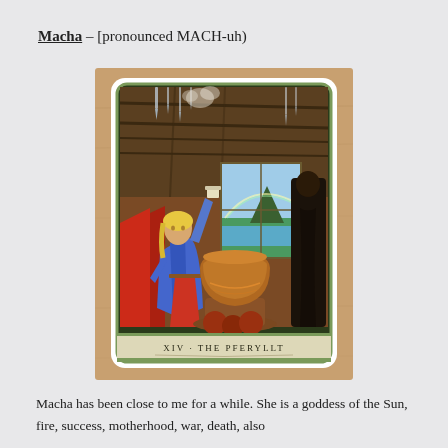Macha – [pronounced MACH-uh)
[Figure (photo): A photograph of a tarot card resting on a wooden surface. The card is labeled 'XIV · THE PFERYLLT' at the bottom and depicts a robed figure pouring liquid into a large cauldron inside a rustic interior, with a landscape visible through a window and crystals hanging from the ceiling. A dark robed figure stands to the right.]
Macha has been close to me for a while. She is a goddess of the Sun, fire, success, motherhood, war, death, also